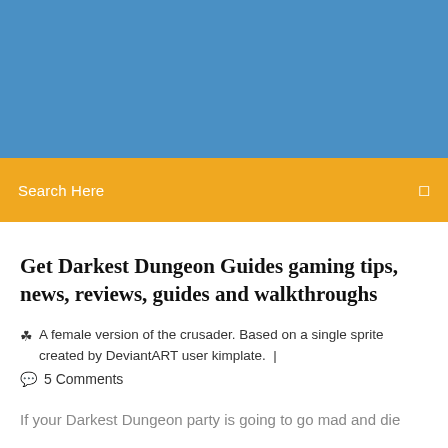[Figure (other): Blue header banner background]
Search Here
Get Darkest Dungeon Guides gaming tips, news, reviews, guides and walkthroughs
A female version of the crusader. Based on a single sprite created by DeviantART user kimplate.  |
5 Comments
If your Darkest Dungeon party is going to go mad and die